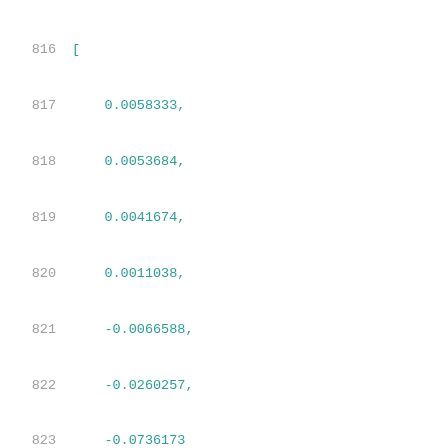816  [
817      0.0058333,
818      0.0053684,
819      0.0041674,
820      0.0011038,
821      -0.0066588,
822      -0.0260257,
823      -0.0736173
824  ],
825  [
826      0.0058216,
827      0.0053466,
828      0.0041473,
829      0.0010624,
830      -0.0067019,
831      -0.0260776,
832      -0.0736519
833  ],
834  [
835      0.0057532,
836      0.0052671,
837      0.0040655,